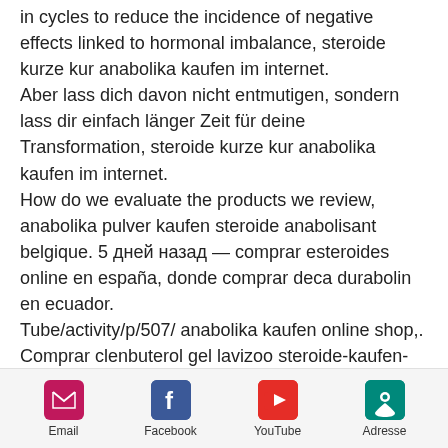in cycles to reduce the incidence of negative effects linked to hormonal imbalance, steroide kurze kur anabolika kaufen im internet. Aber lass dich davon nicht entmutigen, sondern lass dir einfach länger Zeit für deine Transformation, steroide kurze kur anabolika kaufen im internet. How do we evaluate the products we review, anabolika pulver kaufen steroide anabolisant belgique. 5 дней назад — comprar esteroides online en españa, donde comprar deca durabolin en ecuador. Tube/activity/p/507/ anabolika kaufen online shop,. Comprar clenbuterol gel lavizoo steroide-kaufen-online. Anavar steroid kaufen, steroide-kaufen-online. A review of quality and safety of indian steroids. Org/community/profile/anasn31825836/
Email | Facebook | YouTube | Adresse